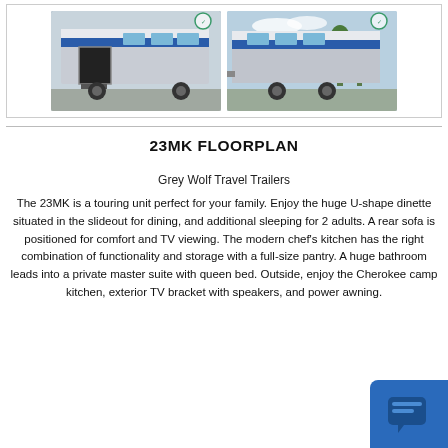[Figure (photo): Two photographs of a Grey Wolf travel trailer RV. Left photo shows the door-side with entry steps extended. Right photo shows the exterior side profile of the trailer.]
23MK FLOORPLAN
Grey Wolf Travel Trailers
The 23MK is a touring unit perfect for your family. Enjoy the huge U-shape dinette situated in the slideout for dining, and additional sleeping for 2 adults. A rear sofa is positioned for comfort and TV viewing. The modern chef's kitchen has the right combination of functionality and storage with a full-size pantry. A huge bathroom leads into a private master suite with queen bed. Outside, enjoy the Cherokee camp kitchen, exterior TV bracket with speakers, and power awning.